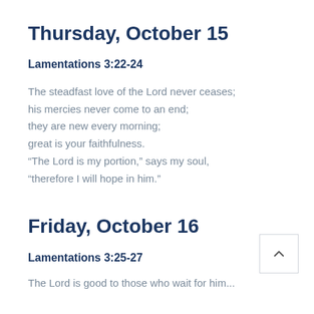Thursday, October 15
Lamentations 3:22-24
The steadfast love of the Lord never ceases; his mercies never come to an end; they are new every morning; great is your faithfulness. “The Lord is my portion,” says my soul, “therefore I will hope in him.”
Friday, October 16
Lamentations 3:25-27
The Lord is good to those who wait for him...